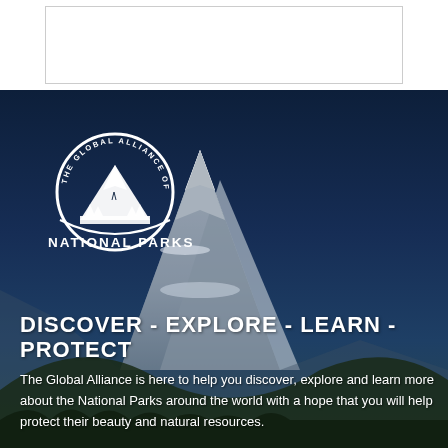[Figure (illustration): Empty white rectangle with thin gray border — placeholder/header box]
[Figure (photo): Hero section with snow-capped mountain background (dark blue sky), National Parks Global Alliance circular logo in white, tagline text, and description text overlaid on the mountain photo]
DISCOVER - EXPLORE - LEARN - PROTECT
The Global Alliance is here to help you discover, explore and learn more about the National Parks around the world with a hope that you will help protect their beauty and natural resources.